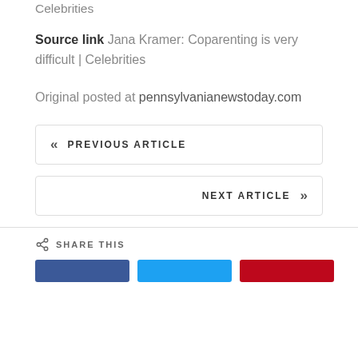Celebrities
Source link Jana Kramer: Coparenting is very difficult | Celebrities
Original posted at pennsylvanianewstoday.com
« PREVIOUS ARTICLE
NEXT ARTICLE »
SHARE THIS